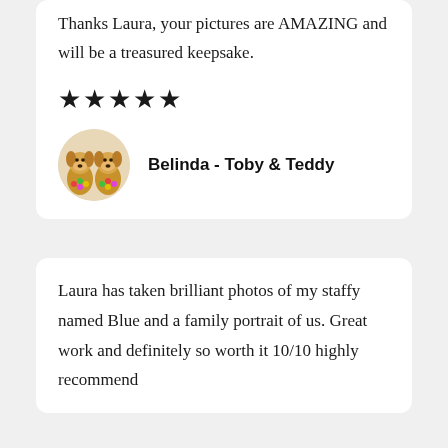Thanks Laura, your pictures are AMAZING and will be a treasured keepsake.
★★★★★
[Figure (photo): Circular avatar photo of two golden/apricot fluffy dogs (Toby and Teddy) sitting side by side wearing colorful flower leis]
Belinda - Toby & Teddy
Laura has taken brilliant photos of my staffy named Blue and a family portrait of us. Great work and definitely so worth it 10/10 highly recommend